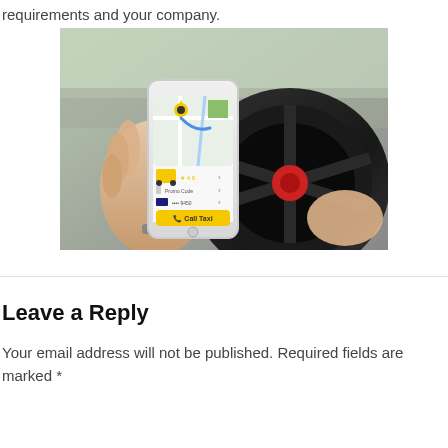requirements and your company.
[Figure (photo): Hands holding a smartphone displaying a taxi app with map navigation and 'Call Taxi' button, in front of a car steering wheel.]
Leave a Reply
Your email address will not be published. Required fields are marked *